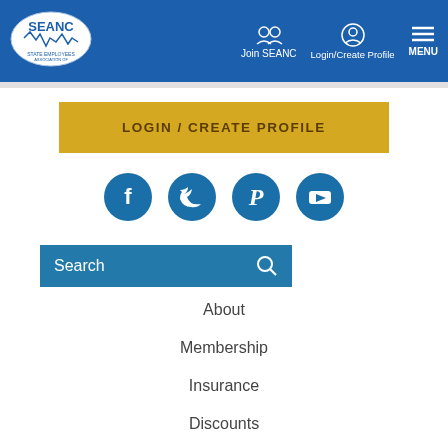[Figure (logo): SEANC logo with North Carolina outline in white oval on blue background]
Join SEANC   Login/Create Profile   MENU
LOGIN / CREATE PROFILE
[Figure (infographic): Four social media icons (Facebook, Twitter, Pinterest, YouTube) as white icons in blue circles]
[Figure (screenshot): Search bar with magnifying glass icon on blue background]
About
Membership
Insurance
Discounts
Advocacy